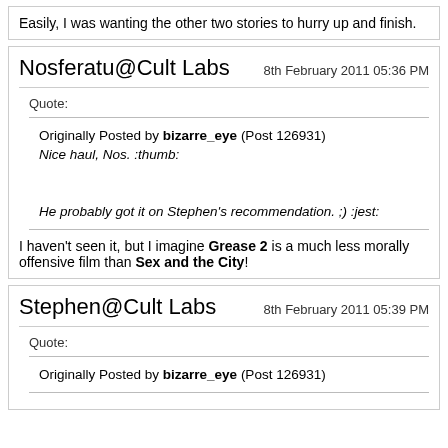Easily, I was wanting the other two stories to hurry up and finish.
Nosferatu@Cult Labs
8th February 2011 05:36 PM
Quote:
Originally Posted by bizarre_eye (Post 126931)
Nice haul, Nos. :thumb:
He probably got it on Stephen's recommendation. ;) :jest:
I haven't seen it, but I imagine Grease 2 is a much less morally offensive film than Sex and the City!
Stephen@Cult Labs
8th February 2011 05:39 PM
Quote:
Originally Posted by bizarre_eye (Post 126931)